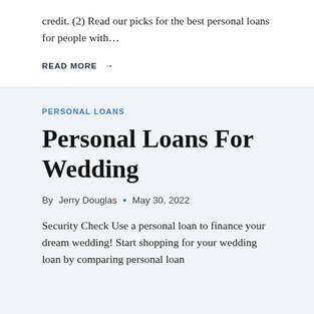credit. (2) Read our picks for the best personal loans for people with…
READ MORE →
PERSONAL LOANS
Personal Loans For Wedding
By Jerry Douglas • May 30, 2022
Security Check Use a personal loan to finance your dream wedding! Start shopping for your wedding loan by comparing personal loan rates from our top lenders. We Focus on…